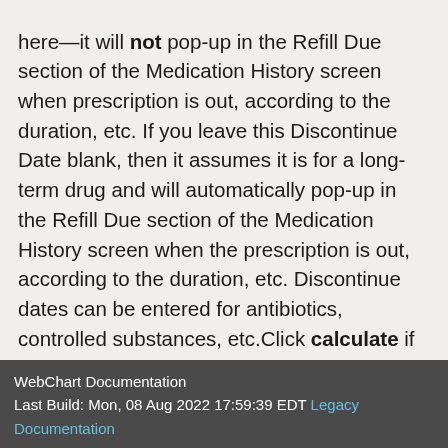here—it will not pop-up in the Refill Due section of the Medication History screen when prescription is out, according to the duration, etc. If you leave this Discontinue Date blank, then it assumes it is for a long-term drug and will automatically pop-up in the Refill Due section of the Medication History screen when the prescription is out, according to the duration, etc. Discontinue dates can be entered for antibiotics, controlled substances, etc.Click calculate if you wish to set the discontinue date for exactly when the duration is up. Example: if
WebChart Documentation
Last Build: Mon, 08 Aug 2022 17:59:39 EDT Legacy Documentation